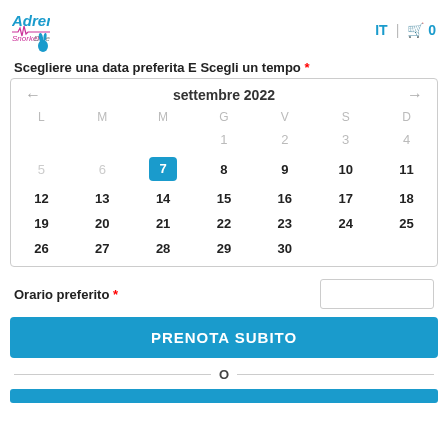[Figure (logo): Adrenalin Snorkel Dive logo with stylized text and icon]
IT  🛒 0
Scegliere una data preferita E Scegli un tempo *
[Figure (other): Calendar widget showing settembre 2022 with day 7 selected in teal highlight]
Orario preferito *
PRENOTA SUBITO
O